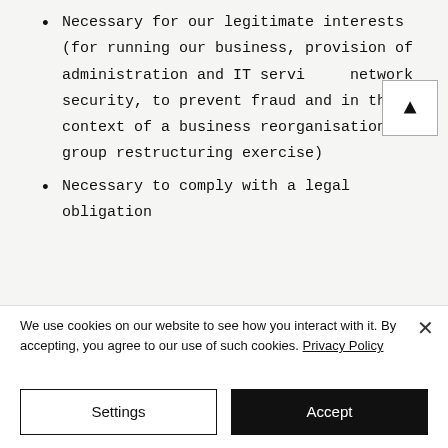Necessary for our legitimate interests (for running our business, provision of administration and IT services, network security, to prevent fraud and in the context of a business reorganisation or group restructuring exercise)
Necessary to comply with a legal obligation
We use cookies on our website to see how you interact with it. By accepting, you agree to our use of such cookies. Privacy Policy
Settings
Accept